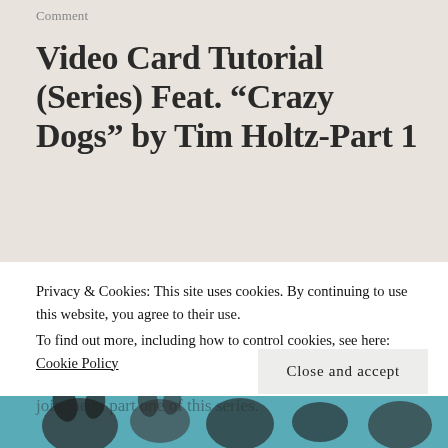Comment
Video Card Tutorial (Series) Feat. “Crazy Dogs” by Tim Holtz-Part 1
I am so excited to be putting together a series of cards all about the new “Crazy Dogs” stamp set by Tim Holtz. These Images are so cute. So come join me in part one of this series.
Privacy & Cookies: This site uses cookies. By continuing to use this website, you agree to their use.
To find out more, including how to control cookies, see here: Cookie Policy
[Figure (photo): Bottom strip of a crafting/card-making image featuring colorful illustrated dogs, partially visible at the bottom of the page]